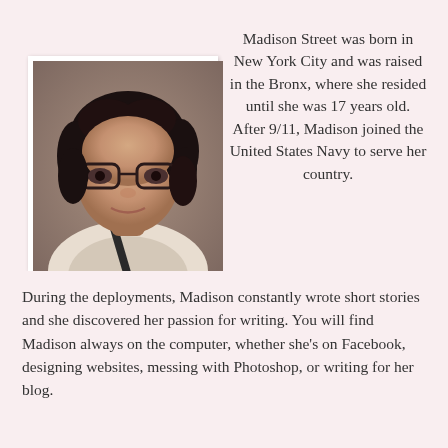[Figure (photo): Headshot photo of a young woman with dark curly hair, glasses, and earrings, wearing a floral top, in a white-bordered polaroid-style frame]
Madison Street was born in New York City and was raised in the Bronx, where she resided until she was 17 years old. After 9/11, Madison joined the United States Navy to serve her country.
During the deployments, Madison constantly wrote short stories and she discovered her passion for writing. You will find Madison always on the computer, whether she's on Facebook, designing websites, messing with Photoshop, or writing for her blog.